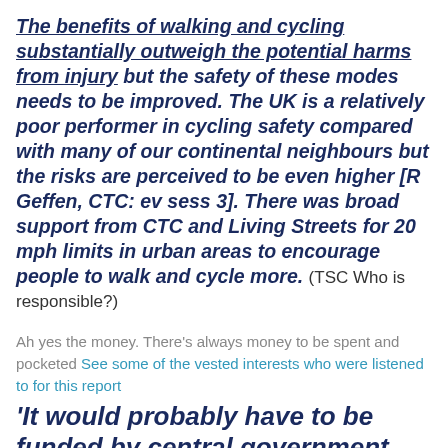The benefits of walking and cycling substantially outweigh the potential harms from injury but the safety of these modes needs to be improved. The UK is a relatively poor performer in cycling safety compared with many of our continental neighbours but the risks are perceived to be even higher [R Geffen, CTC: ev sess 3]. There was broad support from CTC and Living Streets for 20 mph limits in urban areas to encourage people to walk and cycle more. (TSC Who is responsible?)
Ah yes the money. There's always money to be spent and pocketed See some of the vested interests who were listened to for this report
'It would probably have to be funded by central government (as with a number of independent regulatory bodies) but…